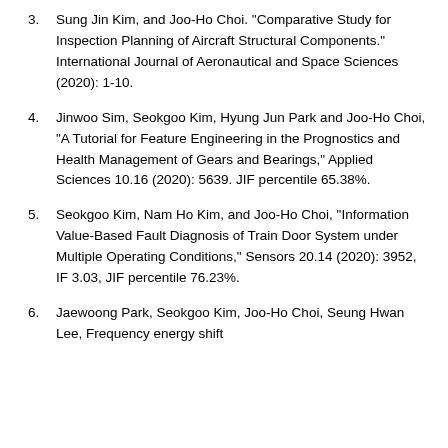3. Sung Jin Kim, and Joo-Ho Choi. "Comparative Study for Inspection Planning of Aircraft Structural Components." International Journal of Aeronautical and Space Sciences (2020): 1-10.
4. Jinwoo Sim, Seokgoo Kim, Hyung Jun Park and Joo-Ho Choi, "A Tutorial for Feature Engineering in the Prognostics and Health Management of Gears and Bearings," Applied Sciences 10.16 (2020): 5639. JIF percentile 65.38%.
5. Seokgoo Kim, Nam Ho Kim, and Joo-Ho Choi, "Information Value-Based Fault Diagnosis of Train Door System under Multiple Operating Conditions," Sensors 20.14 (2020): 3952, IF 3.03, JIF percentile 76.23%.
6. Jaewoong Park, Seokgoo Kim, Joo-Ho Choi, Seung Hwan Lee, Frequency energy shift